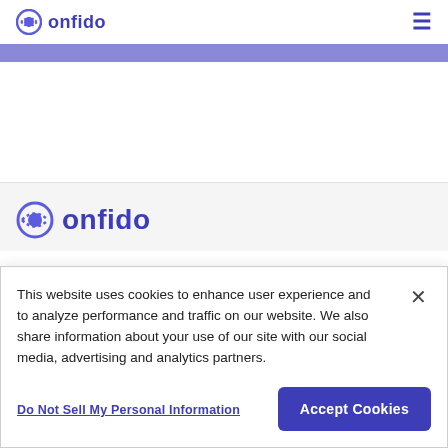onfido [logo] [hamburger menu]
[Figure (logo): Onfido logo with icon and wordmark in the top navigation bar]
[Figure (illustration): Purple/lavender horizontal banner strip]
[Figure (logo): Onfido logo (larger) in the footer area on light gray background]
This website uses cookies to enhance user experience and to analyze performance and traffic on our website. We also share information about your use of our site with our social media, advertising and analytics partners.
Do Not Sell My Personal Information
Accept Cookies